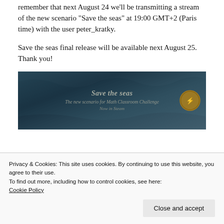remember that next August 24 we'll be transmitting a stream of the new scenario “Save the seas” at 19:00 GMT+2 (Paris time) with the user peter_kratky.
Save the seas final release will be available next August 25. Thank you!
[Figure (illustration): Banner image for 'Save the seas' - The new scenario for Math Classroom Challenge, Now in Steam. Dark teal ocean background with medieval/fantasy style text and a coin/medal on the right side.]
Privacy & Cookies: This site uses cookies. By continuing to use this website, you agree to their use.
To find out more, including how to control cookies, see here:
Cookie Policy